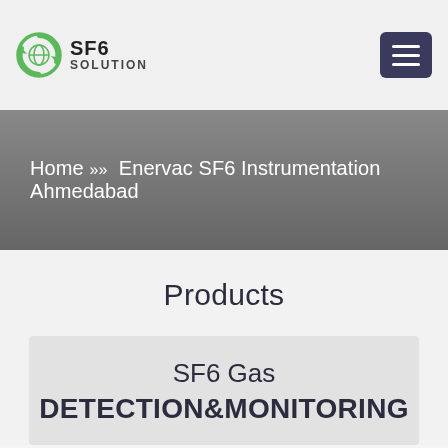SF6 SOLUTION
Home » » Enervac SF6 Instrumentation Ahmedabad
Products
SF6 Gas DETECTION&MONITORING